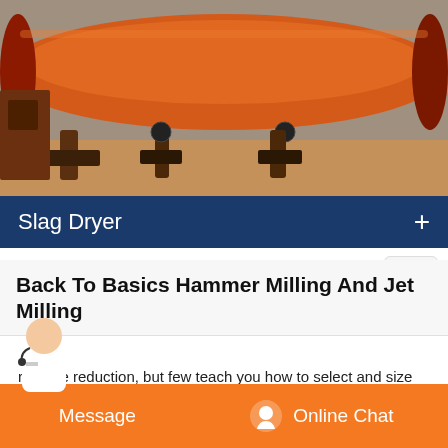[Figure (photo): Industrial orange/red rotary drum dryer or kiln machine sitting on support rollers in a factory or outdoor yard setting.]
Slag Dryer
Back To Basics Hammer Milling And Jet Milling
rial size reduction, but few teach you how to select and size the right type of mill, how to operate your mill efficiently, and how to maintain your mill. There are numerous types of grinding mills. This article